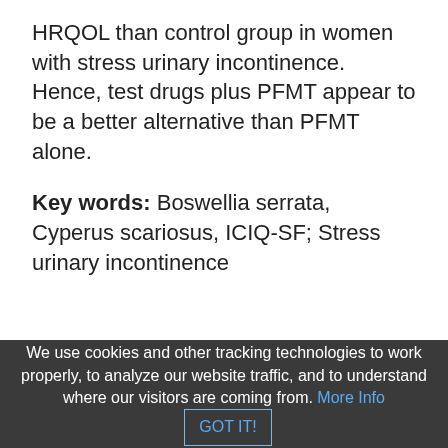HRQOL than control group in women with stress urinary incontinence. Hence, test drugs plus PFMT appear to be a better alternative than PFMT alone.
Key words: Boswellia serrata, Cyperus scariosus, ICIQ-SF; Stress urinary incontinence
We use cookies and other tracking technologies to work properly, to analyze our website traffic, and to understand where our visitors are coming from. More Info GOT IT!